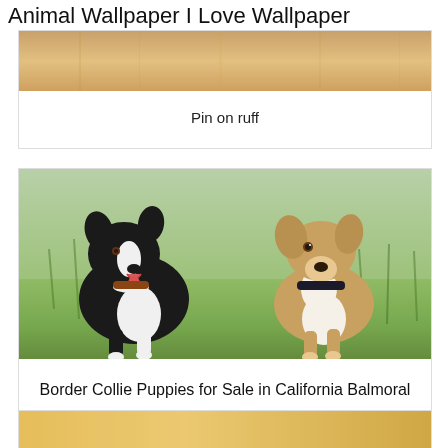Animal Wallpaper I Love Wallpaper
[Figure (photo): Partial view of a golden/tan colored animal fur, cropped at top]
Pin on ruff
[Figure (photo): Two dogs in a green grass field: a black and white Border Collie on the left and a brown and white dog on the right]
Border Collie Puppies for Sale in California Balmoral
[Figure (photo): Partial view of a third animal photo, golden/warm colored, cropped at bottom]